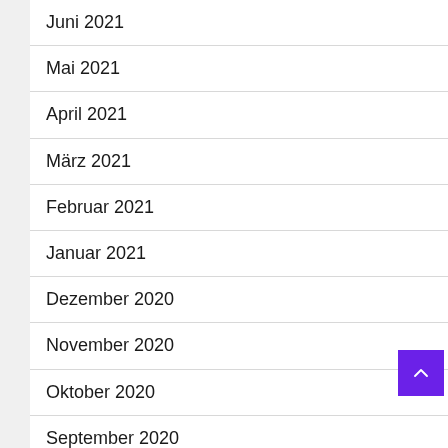Juni 2021
Mai 2021
April 2021
März 2021
Februar 2021
Januar 2021
Dezember 2020
November 2020
Oktober 2020
September 2020